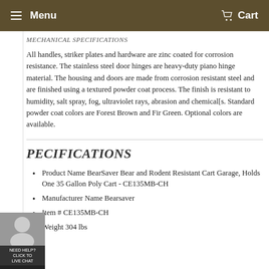Menu   Cart
MECHANICAL SPECIFICATIONS
All handles, striker plates and hardware are zinc coated for corrosion resistance. The stainless steel door hinges are heavy-duty piano hinge material. The housing and doors are made from corrosion resistant steel and are finished using a textured powder coat process. The finish is resistant to humidity, salt spray, fog, ultraviolet rays, abrasion and chemical[s. Standard powder coat colors are Forest Brown and Fir Green. Optional colors are available.
PECIFICATIONS
Product Name BearSaver Bear and Rodent Resistant Cart Garage, Holds One 35 Gallon Poly Cart - CE135MB-CH
Manufacturer Name Bearsaver
Item # CE135MB-CH
Weight 304 lbs